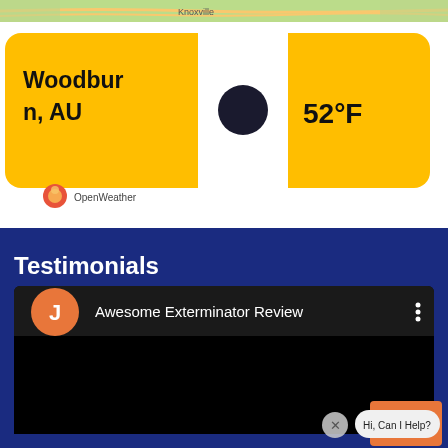[Figure (screenshot): Map screenshot showing Knoxville area]
[Figure (screenshot): Weather widget showing Woodburn, AU at 52°F with OpenWeather branding, orange circle weather icon]
[Figure (screenshot): Testimonials section with dark blue background, containing a YouTube-style video embed titled 'Awesome Exterminator Review' with an orange avatar circle with letter J, three-dot menu icon, and black video area. A chat bubble at bottom says 'Hi, Can I Help?' with an X button and an avatar icon partially visible.]